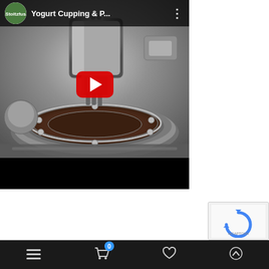[Figure (screenshot): YouTube video embed showing 'Yogurt Cupping & P...' from Stoltzfus channel, with a machinery/industrial equipment thumbnail image (stainless steel cupping/packaging machine), red YouTube play button in center, and black progress bar at bottom.]
[Figure (screenshot): reCAPTCHA widget partially visible in lower right corner, showing blue reCAPTCHA logo]
[Figure (screenshot): Mobile bottom navigation bar with hamburger menu icon, shopping cart icon with badge showing 0, heart/favorites icon, and up arrow icon, on dark background]